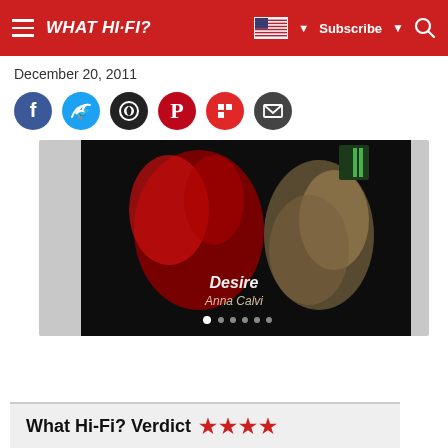WHAT HI-FI?
December 20, 2011
[Figure (other): Row of social sharing icons: Facebook (blue), Twitter (light blue), WhatsApp (dark circle), Pinterest (red), Flipboard (red), Email (dark)]
[Figure (photo): Album art displayed on a device screen showing 'Desire' by Anna Calvi — dark image with red and gold figures, album title and artist name visible in white text at bottom]
What Hi-Fi? Verdict ★★★★